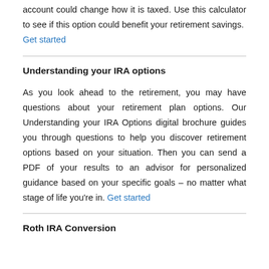account could change how it is taxed. Use this calculator to see if this option could benefit your retirement savings. Get started
Understanding your IRA options
As you look ahead to the retirement, you may have questions about your retirement plan options. Our Understanding your IRA Options digital brochure guides you through questions to help you discover retirement options based on your situation. Then you can send a PDF of your results to an advisor for personalized guidance based on your specific goals – no matter what stage of life you're in. Get started
Roth IRA Conversion